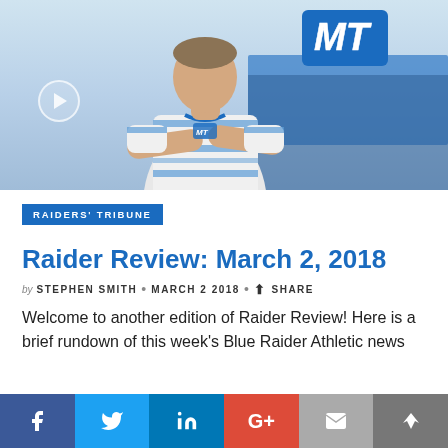[Figure (photo): Person in MTSU blue and white striped polo shirt standing with arms crossed in front of MT logo building backdrop]
RAIDERS' TRIBUNE
Raider Review: March 2, 2018
by STEPHEN SMITH • MARCH 2 2018 • SHARE
Welcome to another edition of Raider Review! Here is a brief rundown of this week's Blue Raider Athletic news